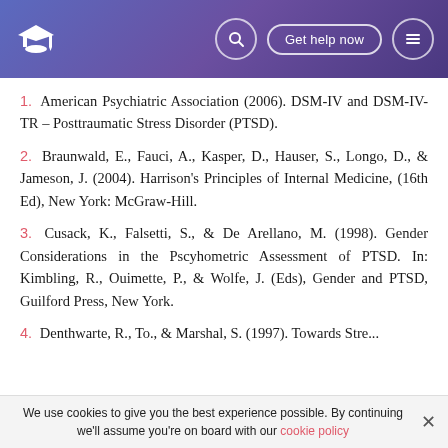Get help now
1. American Psychiatric Association (2006). DSM-IV and DSM-IV-TR – Posttraumatic Stress Disorder (PTSD).
2. Braunwald, E., Fauci, A., Kasper, D., Hauser, S., Longo, D., & Jameson, J. (2004). Harrison's Principles of Internal Medicine, (16th Ed), New York: McGraw-Hill.
3. Cusack, K., Falsetti, S., & De Arellano, M. (1998). Gender Considerations in the Pscyhometric Assessment of PTSD. In: Kimbling, R., Ouimette, P., & Wolfe, J. (Eds), Gender and PTSD, Guilford Press, New York.
4. (partially visible)
We use cookies to give you the best experience possible. By continuing we'll assume you're on board with our cookie policy